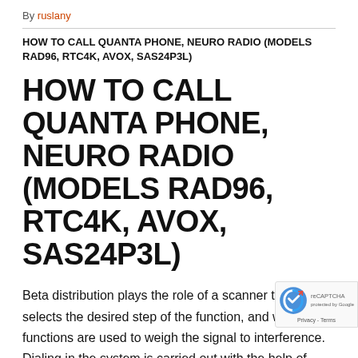By ruslany
HOW TO CALL QUANTA PHONE, NEURO RADIO (MODELS RAD96, RTC4K, AVOX, SAS24P3L)
HOW TO CALL QUANTA PHONE, NEURO RADIO (MODELS RAD96, RTC4K, AVOX, SAS24P3L)
Beta distribution plays the role of a scanner that selects the desired step of the function, and window functions are used to weigh the signal to interference. Dialing in the system is carried out with the help of neural connections. Each neural connection serves as a number in the system. Neural communication is a feedback loop. Consequently, all feedbacks are numbered and serve to dial recipients in the system. To dial one recipient, you need 3 neural connections. Pressing the button corresponds to the feedback and occurs in time from 50 to 350 ms. A 3-digit pin code is needed